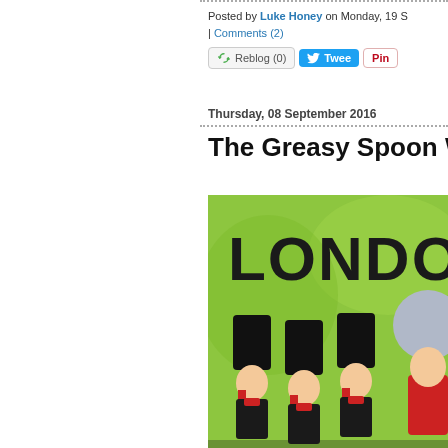Posted by Luke Honey on Monday, 19 S | Comments (2)
Reblog (0)  Tweet  Pin
Thursday, 08 September 2016
The Greasy Spoon W
[Figure (illustration): Colorful illustration showing London Guards (Beefeaters) in black hats with red accents on a green background, with bold text 'LONDO' visible at the top]